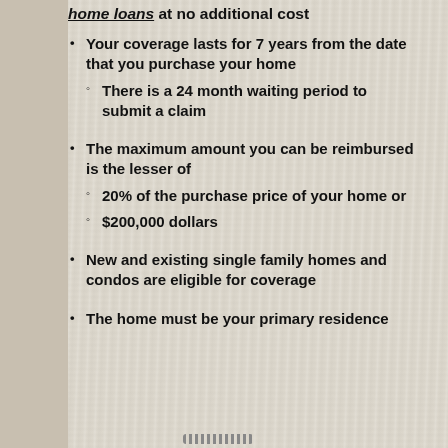home loans at no additional cost
Your coverage lasts for 7 years from the date that you purchase your home
There is a 24 month waiting period to submit a claim
The maximum amount you can be reimbursed is the lesser of
20% of the purchase price of your home or
$200,000 dollars
New and existing single family homes and condos are eligible for coverage
The home must be your primary residence